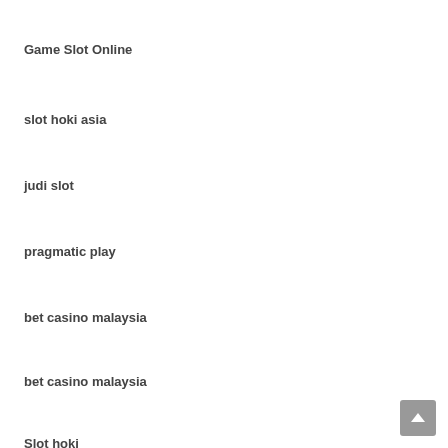Game Slot Online
slot hoki asia
judi slot
pragmatic play
bet casino malaysia
bet casino malaysia
Slot hoki